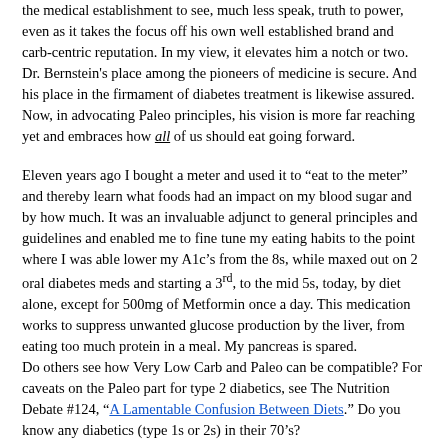the medical establishment to see, much less speak, truth to power, even as it takes the focus off his own well established brand and carb-centric reputation. In my view, it elevates him a notch or two. Dr. Bernstein's place among the pioneers of medicine is secure. And his place in the firmament of diabetes treatment is likewise assured. Now, in advocating Paleo principles, his vision is more far reaching yet and embraces how all of us should eat going forward.
Eleven years ago I bought a meter and used it to "eat to the meter" and thereby learn what foods had an impact on my blood sugar and by how much. It was an invaluable adjunct to general principles and guidelines and enabled me to fine tune my eating habits to the point where I was able lower my A1c's from the 8s, while maxed out on 2 oral diabetes meds and starting a 3rd, to the mid 5s, today, by diet alone, except for 500mg of Metformin once a day. This medication works to suppress unwanted glucose production by the liver, from eating too much protein in a meal. My pancreas is spared.
Do others see how Very Low Carb and Paleo can be compatible? For caveats on the Paleo part for type 2 diabetics, see The Nutrition Debate #124, "A Lamentable Confusion Between Diets." Do you know any diabetics (type 1s or 2s) in their 70's?